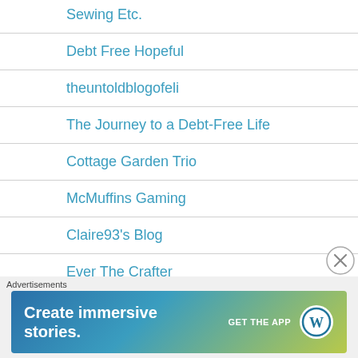Sewing Etc.
Debt Free Hopeful
theuntoldblogofeli
The Journey to a Debt-Free Life
Cottage Garden Trio
McMuffins Gaming
Claire93's Blog
Ever The Crafter
Emma's Craft Projects
Advertisements
[Figure (screenshot): WordPress advertisement banner: 'Create immersive stories. GET THE APP' with WordPress logo]